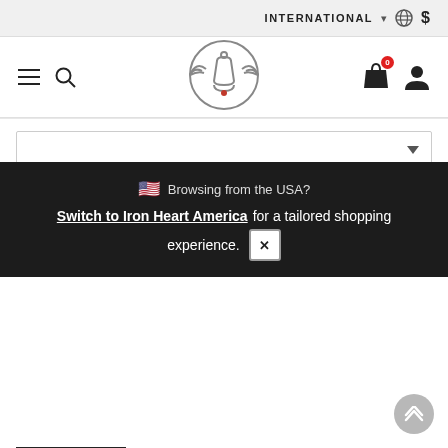INTERNATIONAL ▾ 🌐 $
[Figure (logo): Iron Heart winged bell logo in circular frame]
Browsing from the USA? Switch to Iron Heart America for a tailored shopping experience.
− 1 +
PLEASE SELECT AN OPTION ABOVE